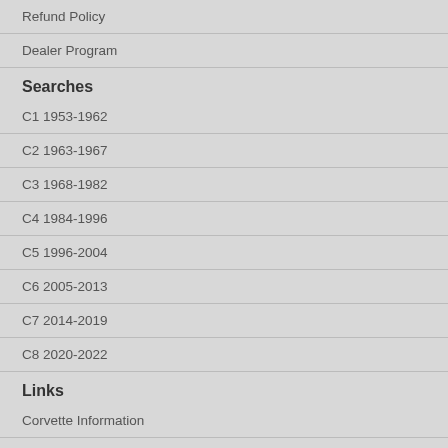Refund Policy
Dealer Program
Searches
C1 1953-1962
C2 1963-1967
C3 1968-1982
C4 1984-1996
C5 1996-2004
C6 2005-2013
C7 2014-2019
C8 2020-2022
Links
Corvette Information
Resources / Links
Corvette Parts For Sale
Chevy Trader